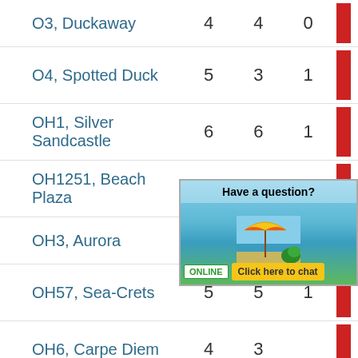| Name | Col1 | Col2 | Col3 |
| --- | --- | --- | --- |
| O3, Duckaway | 4 | 4 | 0 |
| O4, Spotted Duck | 5 | 3 | 1 |
| OH1, Silver Sandcastle | 6 | 6 | 1 |
| OH1251, Beach Plaza | 10 | 10 | 1 |
| OH3, Aurora | 7 | 6 | 2 |
| OH57, Sea-Crets | 5 | 5 | 1 |
| OH6, Carpe Diem | 4 | 3 |  |
| OH91, ... |  |  |  |
[Figure (other): Chat overlay widget showing 'Have a question?' with a beach scene, umbrella, ONLINE badge, and 'Click here to chat' button]